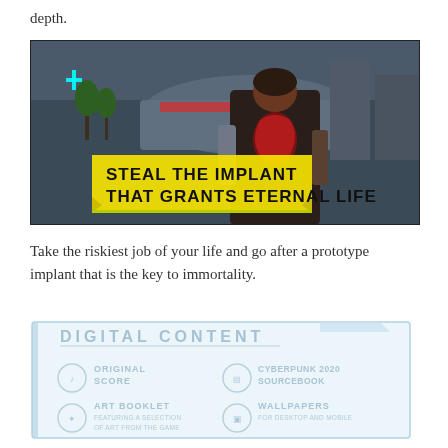depth.
[Figure (screenshot): Cyberpunk 2077 game screenshot showing a character from behind in a futuristic city, with a yellow overlay text that reads 'STEAL THE IMPLANT THAT GRANTS ETERNAL LIFE']
Take the riskiest job of your life and go after a prototype implant that is the key to immortality.
[Figure (infographic): Digital Content section showing four items: Original Score, Cyberpunk 2020 Sourcebook, Art Booklet (featuring a selection of art from the game), and Wallpapers (for desktop and mobile), with a light blue holographic-style border and icons.]